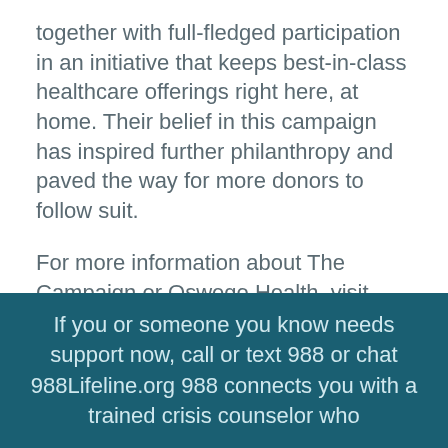together with full-fledged participation in an initiative that keeps best-in-class healthcare offerings right here, at home. Their belief in this campaign has inspired further philanthropy and paved the way for more donors to follow suit.
For more information about The Campaign or Oswego Health, visit www.oswegohealth.org or contact The Oswego Health Foundation at foundation@oswegohealth.org or by calling 315-326-3473.
If you or someone you know needs support now, call or text 988 or chat 988Lifeline.org 988 connects you with a trained crisis counselor who